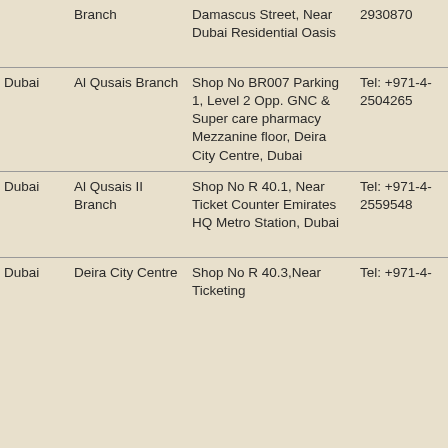| City | Branch | Address | Tel | Hours |
| --- | --- | --- | --- | --- |
|  | Branch | Damascus Street, Near Dubai Residential Oasis | 2930870 | Friday : 08:30 11:30Hrs & 14:00Hrs - 22:00Hrs |
| Dubai | Al Qusais Branch | Shop No BR007 Parking 1, Level 2 Opp. GNC & Super care pharmacy Mezzanine floor, Deira City Centre, Dubai | Tel: +971-4-2504265 | Sun – Wed: 9:30Hrs - 23:0
Thu - Sat: 9.30 - 00:00Hrs |
| Dubai | Al Qusais II Branch | Shop No R 40.1, Near Ticket Counter Emirates HQ Metro Station, Dubai | Tel: +971-4-2559548 | Sat-Thu: 08:00 23:00Hrs
Friday : 13:30 23:00Hrs |
| Dubai | Deira City Centre | Shop No R 40.3, Near Ticketing | Tel: +971-4- | Sat to Thu : 08 Hrs to 23:00 H |